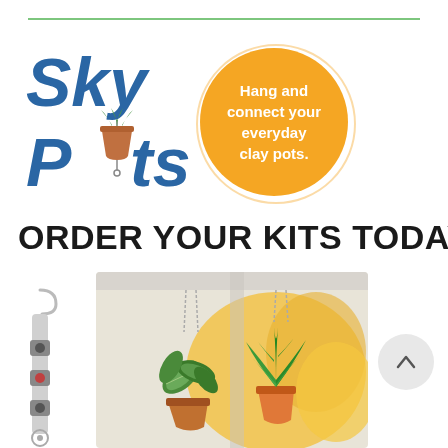[Figure (logo): Sky Pots brand logo with blue italic text and a hanging clay pot icon replacing the 'o' in Pots, with a registered trademark symbol]
[Figure (infographic): Orange circular bubble with white bold text: 'Hang and connect your everyday clay pots.']
ORDER YOUR KITS TODAY!
[Figure (photo): Photo of hanging plants in orange clay pots suspended by chains from a porch ceiling, with yellow flowers visible in the background]
[Figure (photo): Small vertical accessory strip/pole product on the left side]
[Figure (other): Circular scroll-up button with upward arrow icon on the right side]